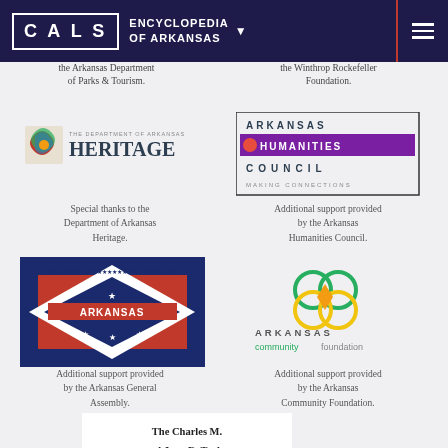CALS ENCYCLOPEDIA OF ARKANSAS
the Arkansas Department of Parks & Tourism.
the Winthrop Rockefeller Foundation.
[Figure (logo): The Department of Arkansas Heritage logo with colorful geometric design]
Special thanks to the Department of Arkansas Heritage.
[Figure (logo): Arkansas Humanities Council logo with MAKING CONNECTIONS tagline]
Additional support provided by the Arkansas Humanities Council.
[Figure (illustration): Arkansas state flag - red background with blue star pattern diamond and ARKANSAS text]
Additional support provided by the Arkansas General Assembly.
[Figure (logo): Arkansas Community Foundation logo - green and yellow interlocking circles]
Additional support provided by the Arkansas Community Foundation.
The Charles M. and Joan R. Taylor Foundation
English